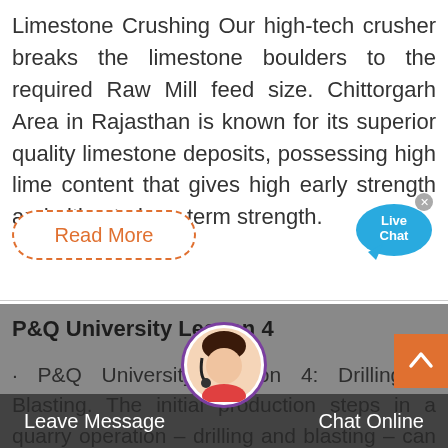Limestone Crushing Our high-tech crusher breaks the limestone boulders to the required Raw Mill feed size. Chittorgarh Area in Rajasthan is known for its superior quality limestone deposits, possessing high lime content that gives high early strength and ultimate long-term strength.
Read More
[Figure (illustration): Live Chat speech bubble icon in blue]
P&Q University Lesson 4
· P&Q University Lesson 4: Drilling & Blasting. The initial production steps in a quarry operation – drilling and blasting – can significantly impact the productivity and costs of downstream operations, including loading, hauling, crushing and screening, and productivity – the relative volume of
[Figure (photo): Customer service agent avatar photo with headset]
Leave Message   Chat Online